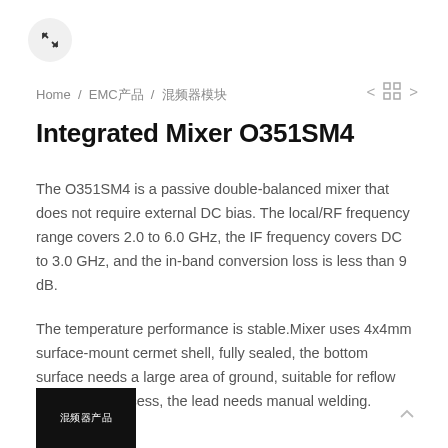[Figure (other): Expand/fullscreen button icon — a circle with a diagonal arrow expand icon]
Home / EMC产品 / 混频器模块
Integrated Mixer O351SM4
The O351SM4 is a passive double-balanced mixer that does not require external DC bias. The local/RF frequency range covers 2.0 to 6.0 GHz, the IF frequency covers DC to 3.0 GHz, and the in-band conversion loss is less than 9 dB.
The temperature performance is stable.Mixer uses 4x4mm surface-mount cermet shell, fully sealed, the bottom surface needs a large area of ground, suitable for reflow installation process, the lead needs manual welding.
[Figure (photo): Small black thumbnail image with white Chinese text label]
[Figure (other): Scroll-to-top arrow icon]